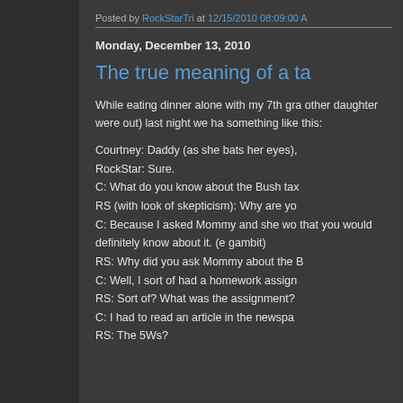Posted by RockStarTri at 12/15/2010 08:09:00 A
Monday, December 13, 2010
The true meaning of a ta
While eating dinner alone with my 7th gra other daughter were out) last night we ha something like this:
Courtney: Daddy (as she bats her eyes),
RockStar: Sure.
C: What do you know about the Bush tax
RS (with look of skepticism): Why are yo
C: Because I asked Mommy and she wo that you would definitely know about it. (e gambit)
RS: Why did you ask Mommy about the B
C: Well, I sort of had a homework assign
RS: Sort of? What was the assignment?
C: I had to read an article in the newspa
RS: The 5Ws?